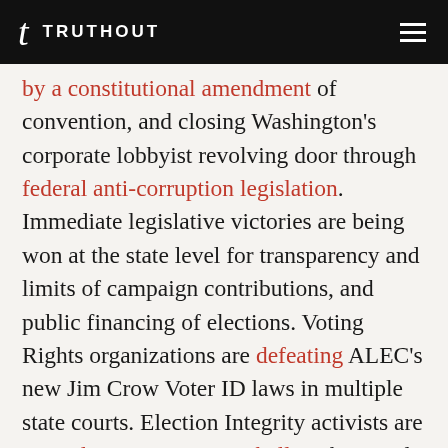TRUTHOUT
by a constitutional amendment of convention, and closing Washington’s corporate lobbyist revolving door through federal anti-corruption legislation. Immediate legislative victories are being won at the state level for transparency and limits of campaign contributions, and public financing of elections. Voting Rights organizations are defeating ALEC’s new Jim Crow Voter ID laws in multiple state courts. Election Integrity activists are struggling to protect our ballots, but need the muscle of a real movement to secure full transparency of our